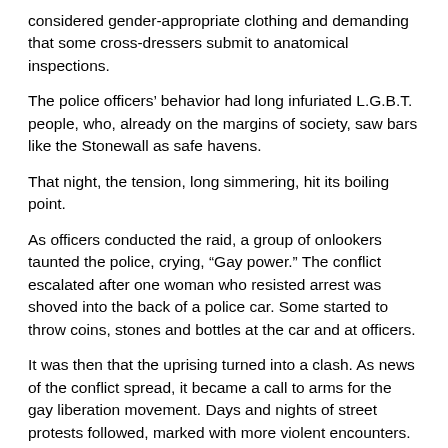considered gender-appropriate clothing and demanding that some cross-dressers submit to anatomical inspections.
The police officers' behavior had long infuriated L.G.B.T. people, who, already on the margins of society, saw bars like the Stonewall as safe havens.
That night, the tension, long simmering, hit its boiling point.
As officers conducted the raid, a group of onlookers taunted the police, crying, “Gay power.” The conflict escalated after one woman who resisted arrest was shoved into the back of a police car. Some started to throw coins, stones and bottles at the car and at officers.
It was then that the uprising turned into a clash. As news of the conflict spread, it became a call to arms for the gay liberation movement. Days and nights of street protests followed, marked with more violent encounters.
In the days after the riots, a new group, the Gay Liberation Front, emerged, holding demonstrations that built off the momentum of the energy at Stonewall. On the first anniversary of the rebellion, that group and others joined for